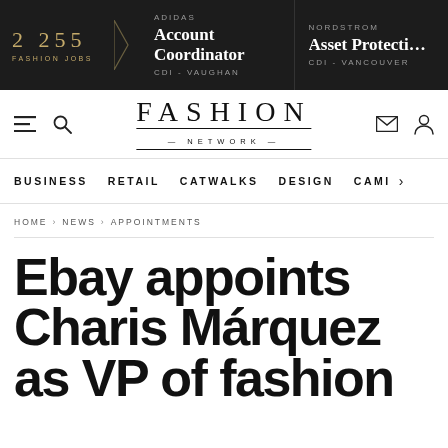2 255 FASHION JOBS | ADIDAS Account Coordinator CDI - VAUGHAN | NORDSTROM Asset Protection CDI - VANCOUVER
FASHION NETWORK
BUSINESS  RETAIL  CATWALKS  DESIGN  CAMI  >
HOME > NEWS > APPOINTMENTS
Ebay appoints Charis Márquez as VP of fashion